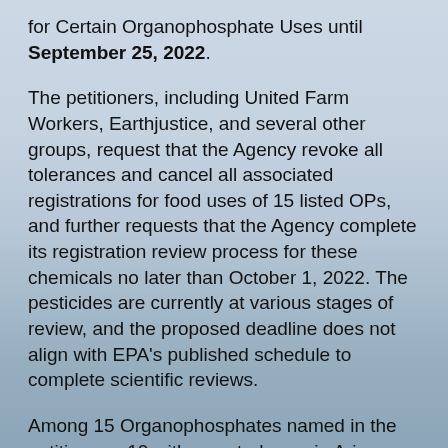for Certain Organophosphate Uses until September 25, 2022.
The petitioners, including United Farm Workers, Earthjustice, and several other groups, request that the Agency revoke all tolerances and cancel all associated registrations for food uses of 15 listed OPs, and further requests that the Agency complete its registration review process for these chemicals no later than October 1, 2022. The pesticides are currently at various stages of review, and the proposed deadline does not align with EPA's published schedule to complete scientific reviews.
Among 15 Organophosphates named in the petition are 10 with reported uses in Arizona (bolded below). Those with known uses in lettuce and other produce include Bensulide (Prefar) and Acephate (Orthene).
Acephate, Bensulide, Chlorothoxyfos, Chlorpyrifos